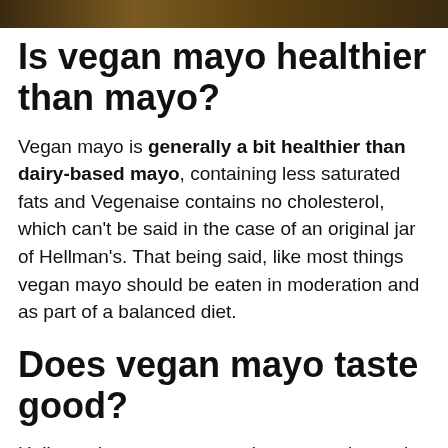[Figure (photo): Photo strip at top of page showing food items, partially cropped]
Is vegan mayo healthier than mayo?
Vegan mayo is generally a bit healthier than dairy-based mayo, containing less saturated fats and Vegenaise contains no cholesterol, which can't be said in the case of an original jar of Hellman's. That being said, like most things vegan mayo should be eaten in moderation and as part of a balanced diet.
Does vegan mayo taste good?
Hellmann's vegan mayonnaise tastes almost the same as Hellmann's real mayonnaise.